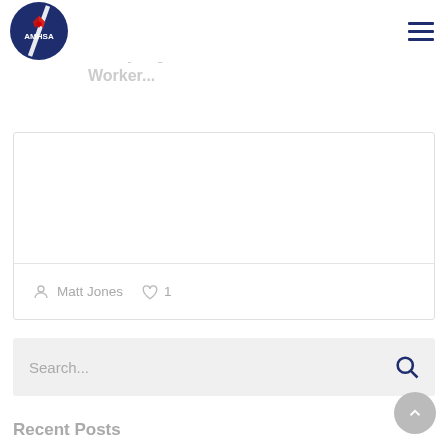[Figure (logo): AMHSA circular logo with dark blue background, red compass/star symbol and white text AMHSA with a white diagonal stripe]
Alberta Occupational Health and Safety...
Matt Jones  ♡ 1
Search...
Recent Posts